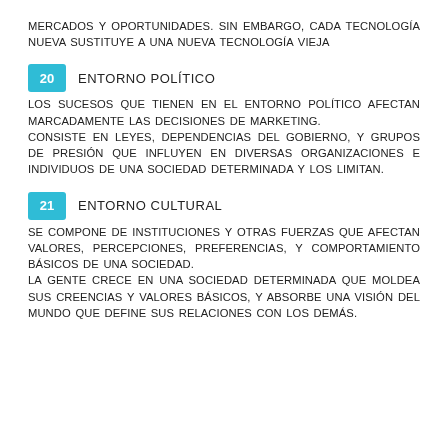MERCADOS Y OPORTUNIDADES. SIN EMBARGO, CADA TECNOLOGÍA NUEVA SUSTITUYE A UNA NUEVA TECNOLOGÍA VIEJA
20  ENTORNO POLÍTICO
LOS SUCESOS QUE TIENEN EN EL ENTORNO POLÍTICO AFECTAN MARCADAMENTE LAS DECISIONES DE MARKETING.
CONSISTE EN LEYES, DEPENDENCIAS DEL GOBIERNO, Y GRUPOS DE PRESIÓN QUE INFLUYEN EN DIVERSAS ORGANIZACIONES E INDIVIDUOS DE UNA SOCIEDAD DETERMINADA Y LOS LIMITAN.
21  ENTORNO CULTURAL
SE COMPONE DE INSTITUCIONES Y OTRAS FUERZAS QUE AFECTAN VALORES, PERCEPCIONES, PREFERENCIAS, Y COMPORTAMIENTO BÁSICOS DE UNA SOCIEDAD.
LA GENTE CRECE EN UNA SOCIEDAD DETERMINADA QUE MOLDEA SUS CREENCIAS Y VALORES BÁSICOS, Y ABSORBE UNA VISIÓN DEL MUNDO QUE DEFINE SUS RELACIONES CON LOS DEMÁS.